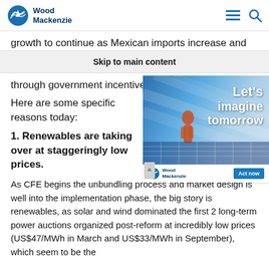Wood Mackenzie
growth to continue as Mexican imports increase and
Skip to main content
through government incentives.
[Figure (illustration): Wood Mackenzie advertisement with 'Let's imagine tomorrow' text overlay on a blue image of a worker near solar panels, with 'Act now' button]
Here are some specific reasons today:
1. Renewables are taking over at staggeringly low prices.
As CFE begins the unbundling process and market design is well into the implementation phase, the big story is renewables, as solar and wind dominated the first 2 long-term power auctions organized post-reform at incredibly low prices (US$47/MWh in March and US$33/MWh in September), which seem to be the